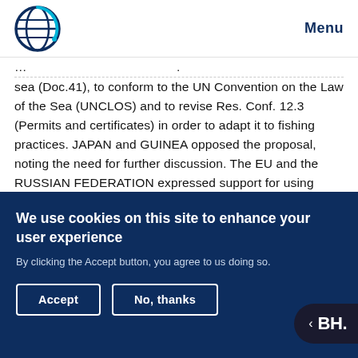Menu
sea (Doc.41), to conform to the UN Convention on the Law of the Sea (UNCLOS) and to revise Res. Conf. 12.3 (Permits and certificates) in order to adapt it to fishing practices. JAPAN and GUINEA opposed the proposal, noting the need for further discussion. The EU and the RUSSIAN FEDERATION expressed support for using UNCLOS language, and requested time to further consider proposed revisions to Res. Conf. 12.3. CANADA emphasized
We use cookies on this site to enhance your user experience
By clicking the Accept button, you agree to us doing so.
Accept
No, thanks